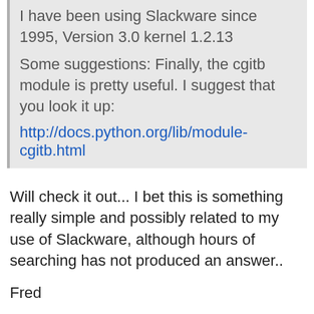I have been using Slackware since 1995, Version 3.0 kernel 1.2.13
Some suggestions: Finally, the cgitb module is pretty useful. I
suggest that you look it up:
http://docs.python.org/lib/module-cgitb.html
Will check it out... I bet this is something really simple and possibly
related to my use of Slackware, although hours of searching has not
produced an answer..
Fred
Jan 26 '06  #10